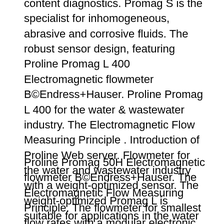content diagnostics. Promag S is the specialist for inhomogeneous, abrasive and corrosive fluids. The robust sensor design, featuring Proline Promag L 400 Electromagnetic flowmeter B©Endress+Hauser. Proline Promag L 400 for the water & wastewater industry. The Electromagnetic Flow Measuring Principle . Introduction of Proline Web server. Flowmeter for the water and wastewater industry with a weight-optimized sensor. The weight-optimized Promag L is suitable for applications in the water and wastewater industry. Due to its
Proline Promag 50H Electromagnetic flowmeter B©Endress+Hauser. The Electromagnetic Flow Measuring Principle. The flowmeter for smallest flow rates with a modular electronic concept.